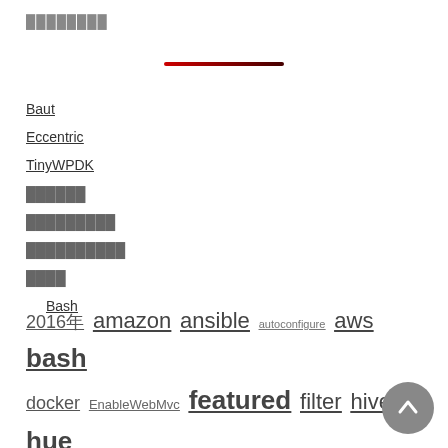████████
Baut
Eccentric
TinyWPDK
██████
█████████
██████████
████
Bash
2016年 amazon ansible autoconfigure aws bash docker EnableWebMvc featured filter hive hue iMac impala KIRIN Kubernetes llvm nuxt